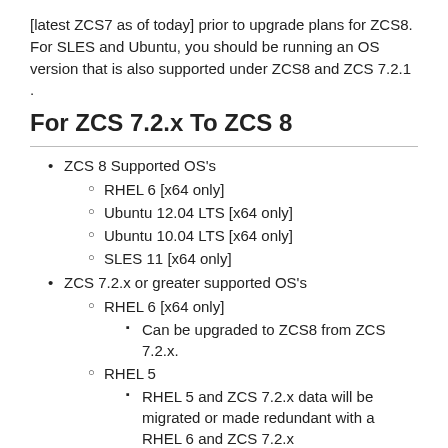[latest ZCS7 as of today] prior to upgrade plans for ZCS8. For SLES and Ubuntu, you should be running an OS version that is also supported under ZCS8 and ZCS 7.2.1 .
For ZCS 7.2.x To ZCS 8
ZCS 8 Supported OS's
RHEL 6 [x64 only]
Ubuntu 12.04 LTS [x64 only]
Ubuntu 10.04 LTS [x64 only]
SLES 11 [x64 only]
ZCS 7.2.x or greater supported OS's
RHEL 6 [x64 only]
Can be upgraded to ZCS8 from ZCS 7.2.x.
RHEL 5
RHEL 5 and ZCS 7.2.x data will be migrated or made redundant with a RHEL 6 and ZCS 7.2.x
This layer will be a stepping stone to...